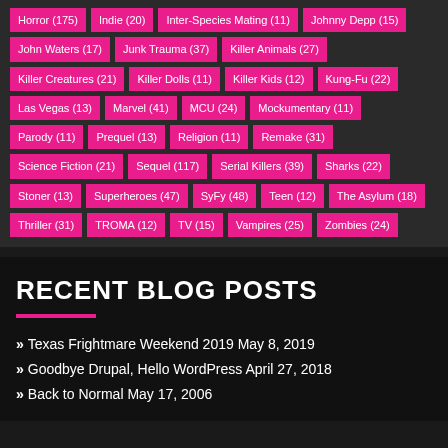Horror (175) Indie (20) Inter-Species Mating (11) Johnny Depp (15) John Waters (17) Junk Trauma (37) Killer Animals (27) Killer Creatures (21) Killer Dolls (11) Killer Kids (12) Kung-Fu (22) Las Vegas (13) Marvel (41) MCU (24) Mockumentary (11) Parody (11) Prequel (13) Religion (11) Remake (31) Science Fiction (21) Sequel (117) Serial Killers (39) Sharks (22) Stoner (13) Superheroes (47) SyFy (48) Teen (12) The Asylum (18) Thriller (31) TROMA (12) TV (15) Vampires (25) Zombies (24)
RECENT BLOG POSTS
Texas Frightmare Weekend 2019 May 8, 2019
Goodbye Drupal, Hello WordPress April 27, 2018
Back to Normal May 17, 2006